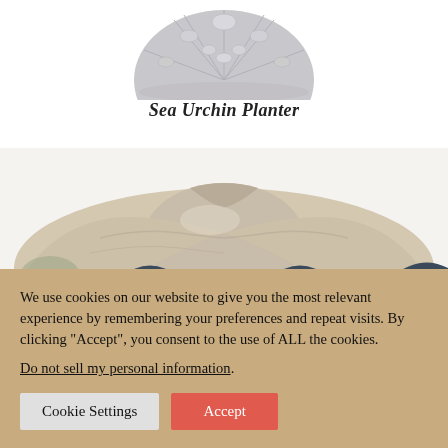[Figure (photo): Partial view of a Sea Urchin Planter product — gray/white decorative urchin shape, shown cropped at top of page]
Sea Urchin Planter
[Figure (photo): Large clam shell sculpture with cream and dark blue/teal coloring, wavy scalloped edges, shown from above at an angle]
We use cookies on our website to give you the most relevant experience by remembering your preferences and repeat visits. By clicking “Accept”, you consent to the use of ALL the cookies.
Do not sell my personal information.
Cookie Settings
Accept